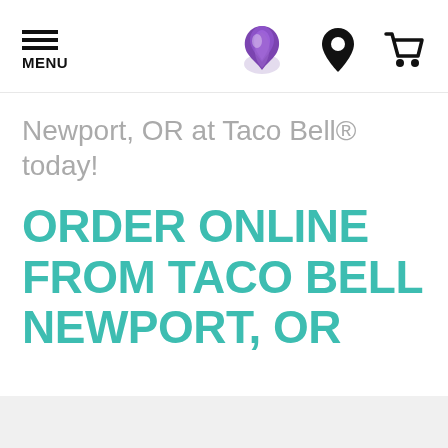[Figure (logo): Taco Bell website header with hamburger menu icon labeled MENU, Taco Bell logo (purple bell shape), location pin icon, and shopping cart icon]
Newport, OR at Taco Bell® today!
ORDER ONLINE FROM TACO BELL NEWPORT, OR